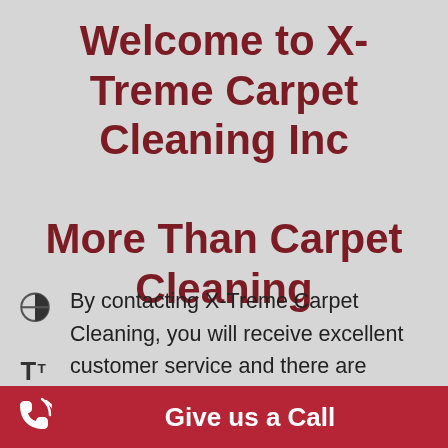Welcome to X-Treme Carpet Cleaning Inc More Than Carpet Cleaning
By contacting X-Treme Carpet Cleaning, you will receive excellent customer service and there are several services that we offer to our customers! We specialize in carpet & tile cleaning, carpet repairs, Pet odor and urine Removal just to list a few. We are local, family owned cleaning company. Paula or Cheryl will exceed in answering any questions you may have about our cleaning services, cleaning types, procedures or
Give us a Call